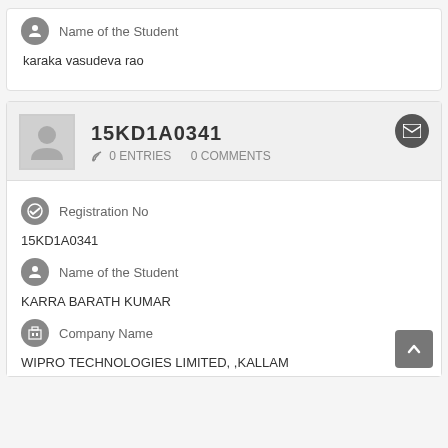Name of the Student
karaka vasudeva rao
15KD1A0341
0 ENTRIES   0 COMMENTS
Registration No
15KD1A0341
Name of the Student
KARRA BARATH KUMAR
Company Name
WIPRO TECHNOLOGIES LIMITED, ,KALLAM